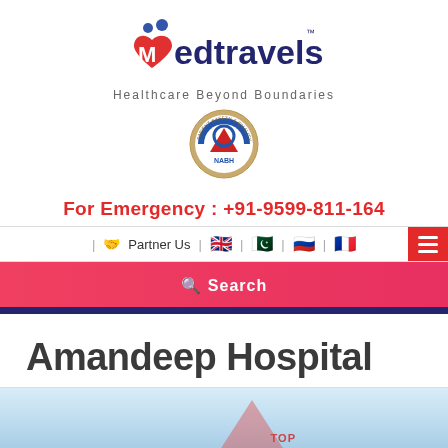[Figure (logo): Medtravels logo with stylized M made of people figures and red heart, blue text 'medtravels' with TM mark]
Healthcare Beyond Boundaries
[Figure (logo): NABH accreditation badge - circular seal with Patient Safety & Quality of Care text around a blue and red emblem]
For Emergency : +91-9599-811-164
| Partner Us | [UK flag] | [Pakistan flag] | [Russia flag] | [France flag]
Search
Amandeep Hospital